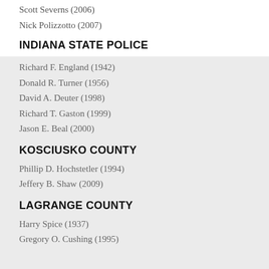Scott Severns (2006)
Nick Polizzotto (2007)
INDIANA STATE POLICE
Richard F. England (1942)
Donald R. Turner (1956)
David A. Deuter (1998)
Richard T. Gaston (1999)
Jason E. Beal (2000)
KOSCIUSKO COUNTY
Phillip D. Hochstetler (1994)
Jeffery B. Shaw (2009)
LAGRANGE COUNTY
Harry Spice (1937)
Gregory O. Cushing (1995)
For more information about officers who have made